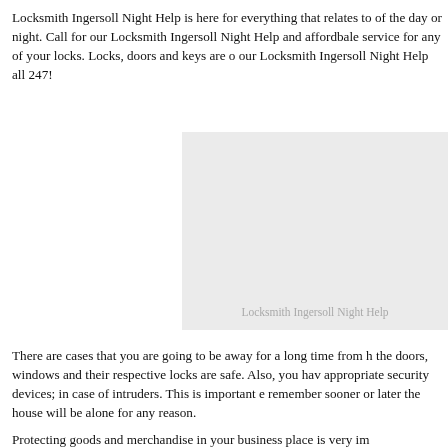Locksmith Ingersoll Night Help is here for everything that relates to of the day or night. Call for our Locksmith Ingersoll Night Help and affordbale service for any of your locks. Locks, doors and keys are o our Locksmith Ingersoll Night Help all 247!
[Figure (photo): A light gray placeholder image box with the caption 'Locksmith Ingersoll Night Help' centered near the bottom.]
There are cases that you are going to be away for a long time from h the doors, windows and their respective locks are safe. Also, you hav appropriate security devices; in case of intruders. This is important e remember sooner or later the house will be alone for any reason.
Protecting goods and merchandise in your business place is very im